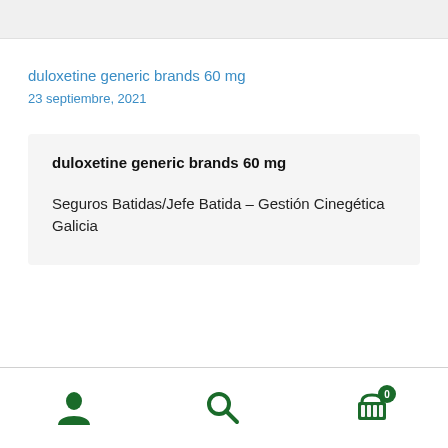duloxetine generic brands 60 mg
23 septiembre, 2021
duloxetine generic brands 60 mg
Seguros Batidas/Jefe Batida – Gestión Cinegética Galicia